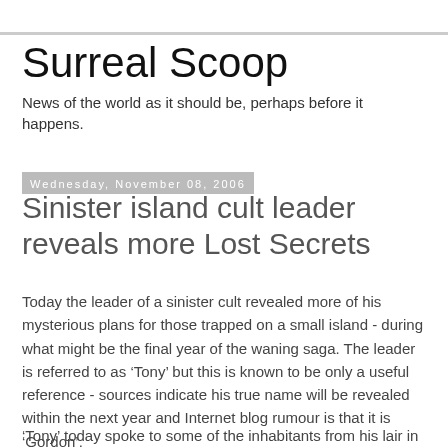Surreal Scoop
News of the world as it should be, perhaps before it happens.
Wednesday, November 08, 2006
Sinister island cult leader reveals more Lost Secrets
Today the leader of a sinister cult revealed more of his mysterious plans for those trapped on a small island - during what might be the final year of the waning saga. The leader is referred to as ‘Tony’ but this is known to be only a useful reference - sources indicate his true name will be revealed within the next year and Internet blog rumour is that it is ‘Gordon’.
‘Tony’ today spoke to some of the inhabitants from his lair in an old station of the mysterious “New Labour Initiative”